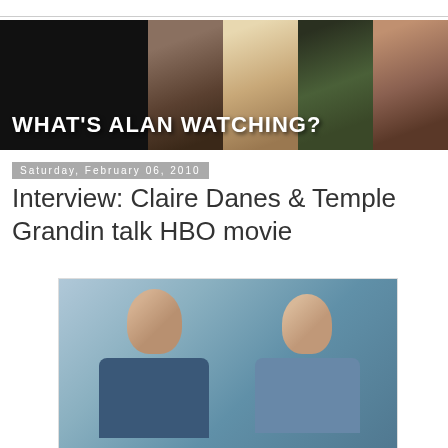[Figure (illustration): What's Alan Watching? blog banner with black background, text title and four celebrity photos on the right side]
Saturday, February 06, 2010
Interview: Claire Danes & Temple Grandin talk HBO movie
[Figure (photo): Two people standing side by side, both wearing blue outfits, likely from the HBO Temple Grandin movie]